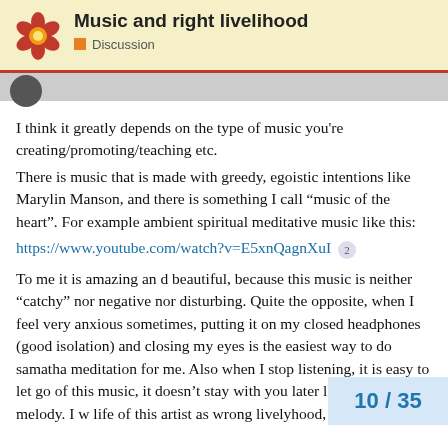Music and right livelihood
Discussion
I think it greatly depends on the type of music you're creating/promoting/teaching etc.
There is music that is made with greedy, egoistic intentions like Marylin Manson, and there is something I call “music of the heart”. For example ambient spiritual meditative music like this:
https://www.youtube.com/watch?v=E5xnQagnXuI 2

To me it is amazing an d beautiful, because this music is neither “catchy” nor negative nor disturbing. Quite the opposite, when I feel very anxious sometimes, putting it on my closed headphones (good isolation) and closing my eyes is the easiest way to do samatha meditation for me. Also when I stop listening, it is easy to let go of this music, it doesn’t stay with you later like some pop melody. I w life of this artist as wrong livelyhood, qu
10 / 35